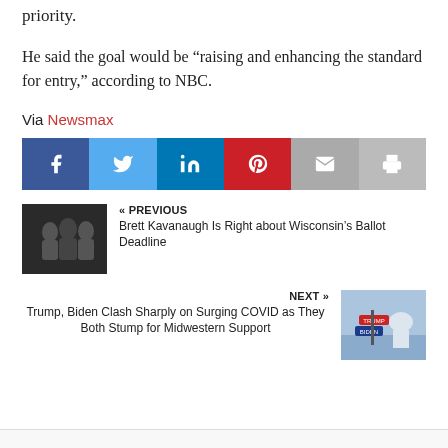priority.
He said the goal would be “raising and enhancing the standard for entry,” according to NBC.
Via Newsmax
[Figure (infographic): Social media share buttons: Facebook (blue), Twitter (light blue), LinkedIn (dark blue), Pinterest (red), Email (gray), Print (light gray)]
[Figure (photo): Photo of people in suits, appears to be a judicial or political setting]
« PREVIOUS Brett Kavanaugh Is Right about Wisconsin’s Ballot Deadline
[Figure (photo): Photo showing Trump and Biden campaign signs on street signs against a sky background]
NEXT » Trump, Biden Clash Sharply on Surging COVID as They Both Stump for Midwestern Support